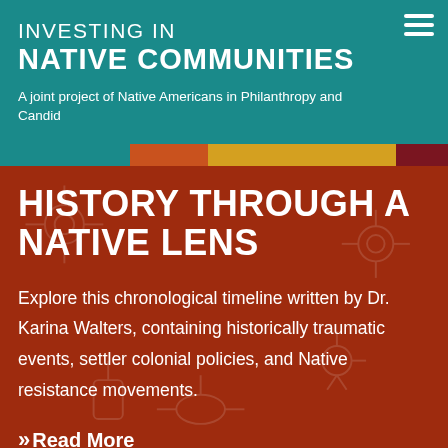INVESTING IN NATIVE COMMUNITIES
A joint project of Native Americans in Philanthropy and Candid
[Figure (infographic): Horizontal color bar strip with teal, orange, amber, and dark red segments]
HISTORY THROUGH A NATIVE LENS
Explore this chronological timeline written by Dr. Karina Walters, containing historically traumatic events, settler colonial policies, and Native resistance movements.
>> Read More